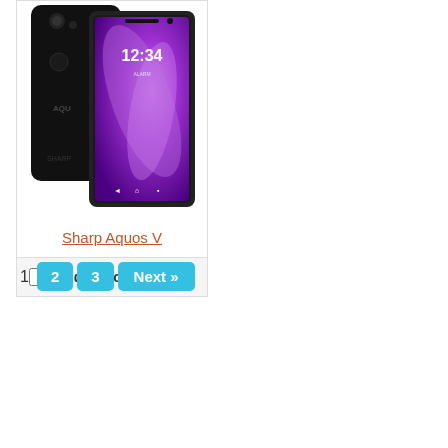[Figure (photo): Sharp Aquos V smartphone shown from back (black) and front (purple wallpaper with 12:34 time displayed)]
Sharp Aquos V
Add to Compare
1
2
3
Next »